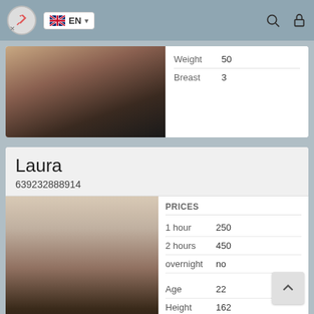EN
|  |  |
| --- | --- |
| Weight | 50 |
| Breast | 3 |
Laura
639232888914
| PRICES |  |
| --- | --- |
| 1 hour | 250 |
| 2 hours | 450 |
| overnight | no |
| Age | 22 |
| Height | 162 |
| Weight | 56 |
| Breast | 3 |